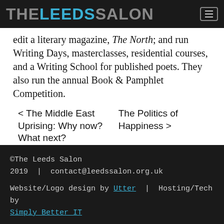THE LEEDS SALON
edit a literary magazine, The North; and run Writing Days, masterclasses, residential courses, and a Writing School for published poets. They also run the annual Book & Pamphlet Competition.
< The Middle East Uprising: Why now? What next?
The Politics of Happiness >
©The Leeds Salon 2019  |  contact@leedssalon.org.uk
Website/Logo design by Utter  |  Hosting/Tech by Simply Better IT